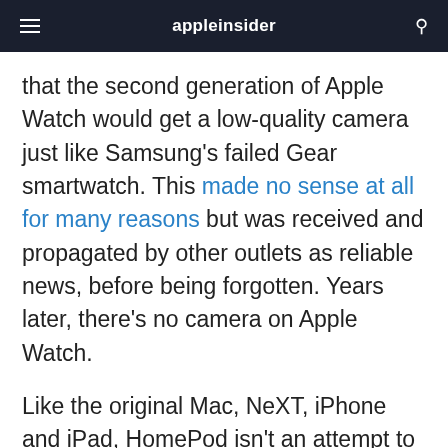appleinsider
that the second generation of Apple Watch would get a low-quality camera just like Samsung's failed Gear smartwatch. This made no sense at all for many reasons but was received and propagated by other outlets as reliable news, before being forgotten. Years later, there's no camera on Apple Watch.
Like the original Mac, NeXT, iPhone and iPad, HomePod isn't an attempt to merely clone the status quo, but rather an effort to take very expensive new technology and make it affordable to the mass market. HomePod is the pinnacle of Apple's resurgent efforts to push